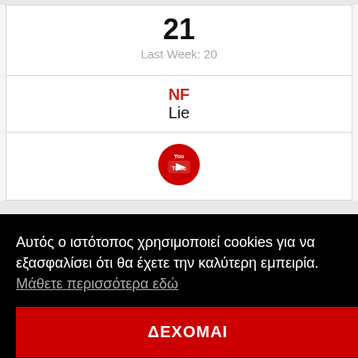21
Last Week: 20
NF
Lie
[Figure (logo): YouTube red circular logo button]
Αυτός ο ιστότοπος χρησιμοποιεί cookies για να εξασφαλίσει ότι θα έχετε την καλύτερη εμπειρία.  Μάθετε περισσότερα εδώ
ΔΕΧΟΜΑΙ